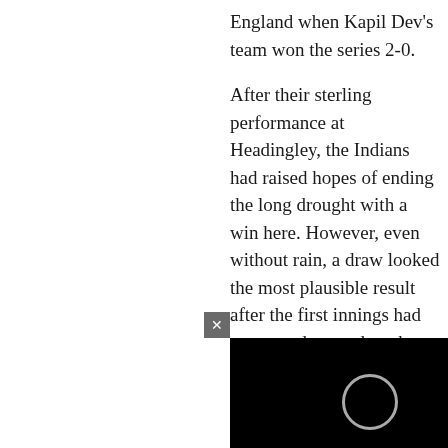England when Kapil Dev's team won the series 2-0.
After their sterling performance at Headingley, the Indians had raised hopes of ending the long drought with a win here. However, even without rain, a draw looked the most plausible result after the first innings had consumed more than three-and-half days with just a seven-run advantage in favour of England.
Rahul Dravid w...